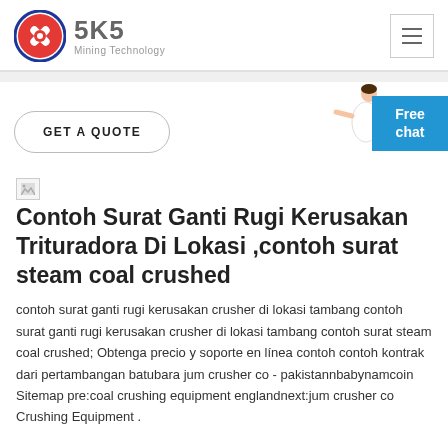SKS Mining Technology
GET A QUOTE
Contoh Surat Ganti Rugi Kerusakan Trituradora Di Lokasi ,contoh surat steam coal crushed
contoh surat ganti rugi kerusakan crusher di lokasi tambang contoh surat ganti rugi kerusakan crusher di lokasi tambang contoh surat steam coal crushed; Obtenga precio y soporte en línea contoh contoh kontrak dari pertambangan batubara jum crusher co - pakistannbabynamcoin Sitemap pre:coal crushing equipment englandnext:jum crusher co Crushing Equipment .